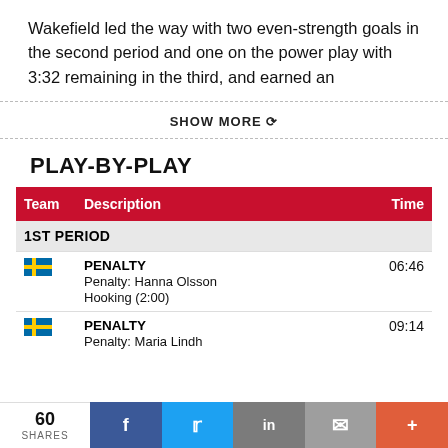Wakefield led the way with two even-strength goals in the second period and one on the power play with 3:32 remaining in the third, and earned an
SHOW MORE
PLAY-BY-PLAY
| Team | Description | Time |
| --- | --- | --- |
| 1ST PERIOD |  |  |
| Sweden | PENALTY
Penalty: Hanna Olsson
Hooking (2:00) | 06:46 |
| Sweden | PENALTY
Penalty: Maria Lindh | 09:14 |
60 SHARES | Facebook | Twitter | LinkedIn | Mail | More